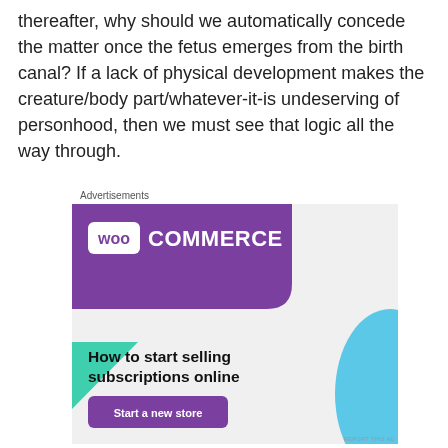thereafter, why should we automatically concede the matter once the fetus emerges from the birth canal? If a lack of physical development makes the creature/body part/whatever-it-is undeserving of personhood, then we must see that logic all the way through.
Advertisements
[Figure (other): WooCommerce advertisement banner. Purple header with WooCommerce logo, teal triangle decoration, light blue arc decoration, headline 'How to start selling subscriptions online', and a 'Start a new store' button.]